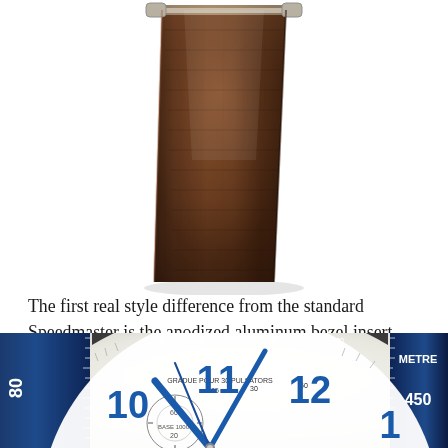[Figure (photo): Close-up of a dark brown leather watch strap, tapered shape, viewed from the underside end, showing soft texture and silver hardware at the top]
The first real style difference from the standard Speedmaster is the anodized aluminum bezel insert, available in blue, black or warm mahogany brown. Compared with Moonwatch's distinctive and practical tachymeter scale, the tachymeter design here is softer and more complex, with a new 1940s-style circular font and internal high halo.
[Figure (photo): Close-up macro photograph of a watch dial showing blue hour markers (10, 11, 12, 1), blue hands, tachymeter/telemetre scale markings with text 'TELEMETRE KM', 'GRADUE POUR 30 PULSATORS', 'BASE 1000 20', on a white dial, with a blue anodized bezel ring visible at edges showing numbers 80 and 450]